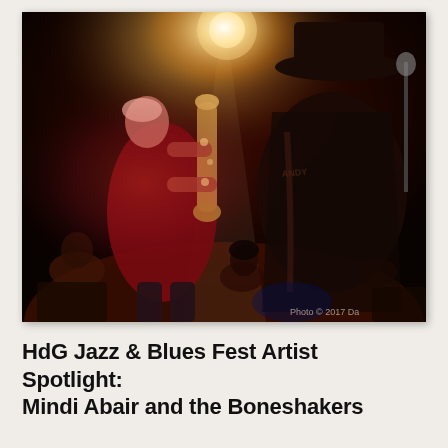[Figure (photo): Concert photo of two musicians on a dark stage lit with warm red/amber spotlights. On the left, a woman with light hair plays a saxophone, wearing a sleeveless outfit. On the right, a man in a wide-brimmed hat and dark jacket with decorative strap faces away from the camera. An audience is visible in the background. Watermark reads 'Photo © 2017 Da...' in lower right corner.]
HdG Jazz & Blues Fest Artist Spotlight: Mindi Abair and the Boneshakers